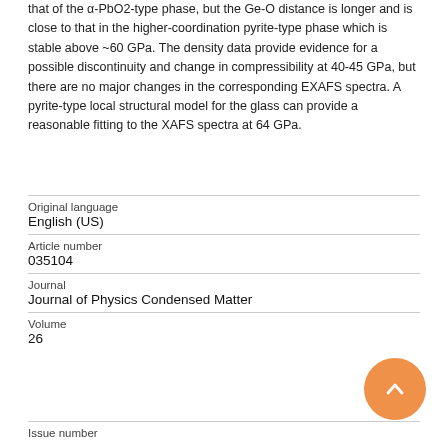that of the α-PbO2-type phase, but the Ge-O distance is longer and is close to that in the higher-coordination pyrite-type phase which is stable above ~60 GPa. The density data provide evidence for a possible discontinuity and change in compressibility at 40-45 GPa, but there are no major changes in the corresponding EXAFS spectra. A pyrite-type local structural model for the glass can provide a reasonable fitting to the XAFS spectra at 64 GPa.
| Field | Value |
| --- | --- |
| Original language | English (US) |
| Article number | 035104 |
| Journal | Journal of Physics Condensed Matter |
| Volume | 26 |
| Issue number |  |